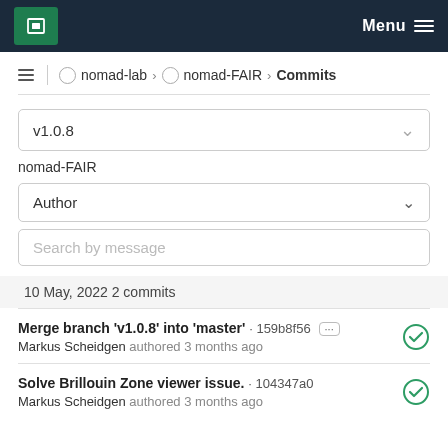MPCDF Menu
nomad-lab › nomad-FAIR › Commits
v1.0.8
nomad-FAIR
Author
Search by message
10 May, 2022 2 commits
Merge branch 'v1.0.8' into 'master' · 159b8f56 ··· ✓
Markus Scheidgen authored 3 months ago
Solve Brillouin Zone viewer issue. · 104347a0 ✓
Markus Scheidgen authored 3 months ago